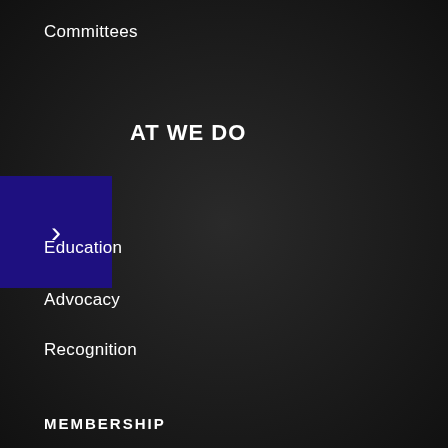Committees
[Figure (screenshot): Dark blue/navy square button with a white right-pointing chevron arrow]
AT WE DO
Education
Advocacy
Recognition
MEMBERSHIP
Join CFCAR
Alliance Members
Member Directory